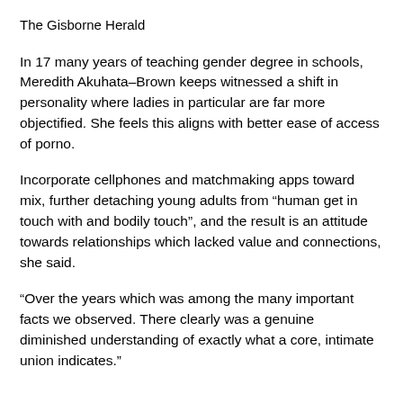The Gisborne Herald
In 17 many years of teaching gender degree in schools, Meredith Akuhata–Brown keeps witnessed a shift in personality where ladies in particular are far more objectified. She feels this aligns with better ease of access of porno.
Incorporate cellphones and matchmaking apps toward mix, further detaching young adults from “human get in touch with and bodily touch”, and the result is an attitude towards relationships which lacked value and connections, she said.
“Over the years which was among the many important facts we observed. There clearly was a genuine diminished understanding of exactly what a core, intimate union indicates.”